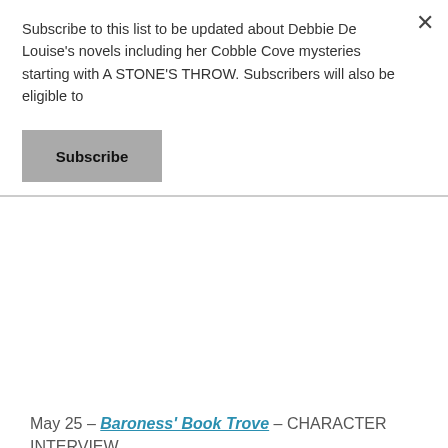Subscribe to this list to be updated about Debbie De Louise's novels including her Cobble Cove mysteries starting with A STONE'S THROW. Subscribers will also be eligible to
Subscribe
May 25 – Baroness' Book Trove – CHARACTER INTERVIEW
May 25 – Cozy Up With Kathy – REVIEW, AUTHOR INTERVIEW
May 25 – FUONLYKNEW – SPOTLIGHT
May 26 – Novels Alive – GUEST POST